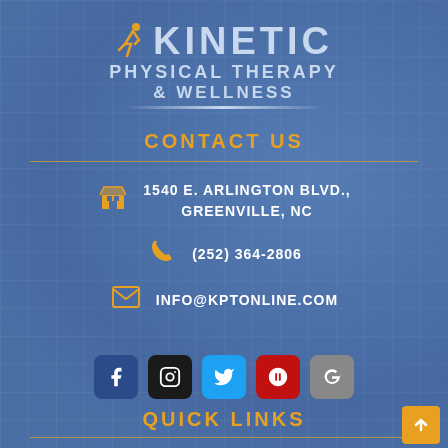[Figure (logo): Kinetic Physical Therapy & Wellness logo with runner icon, white/light blue text on blue background]
CONTACT US
1540 E. ARLINGTON BLVD., GREENVILLE, NC
(252) 364-2806
INFO@KPTONLINE.COM
[Figure (infographic): Social media icons row: Facebook, Instagram, Twitter, Yelp, Google]
QUICK LINKS